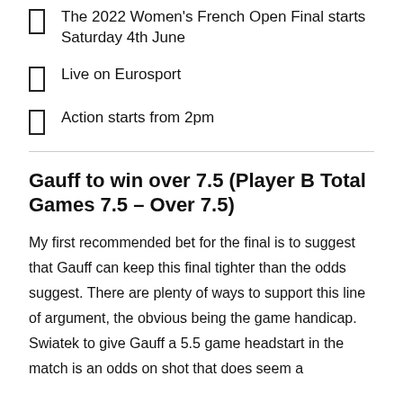The 2022 Women's French Open Final starts Saturday 4th June
Live on Eurosport
Action starts from 2pm
Gauff to win over 7.5 (Player B Total Games 7.5 – Over 7.5)
My first recommended bet for the final is to suggest that Gauff can keep this final tighter than the odds suggest. There are plenty of ways to support this line of argument, the obvious being the game handicap. Swiatek to give Gauff a 5.5 game headstart in the match is an odds on shot that does seem a